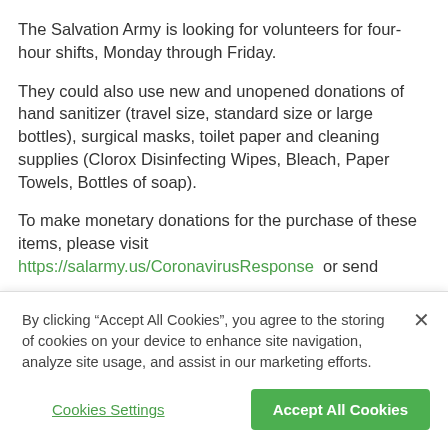The Salvation Army is looking for volunteers for four-hour shifts, Monday through Friday.
They could also use new and unopened donations of hand sanitizer (travel size, standard size or large bottles), surgical masks, toilet paper and cleaning supplies (Clorox Disinfecting Wipes, Bleach, Paper Towels, Bottles of soap).
To make monetary donations for the purchase of these items, please visit https://salarmy.us/CoronavirusResponse  or send
By clicking “Accept All Cookies”, you agree to the storing of cookies on your device to enhance site navigation, analyze site usage, and assist in our marketing efforts.
Cookies Settings
Accept All Cookies